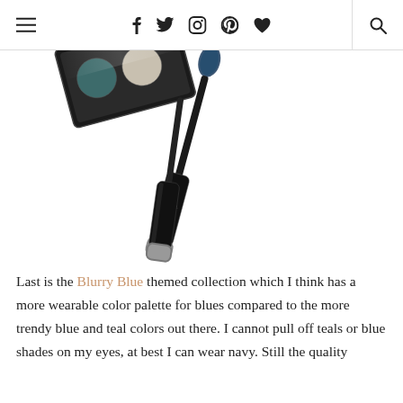≡  f  𝕥  ⊙  𝕡  ♥  🔍
[Figure (photo): Photo of a black mascara tube with brush applicator and a compact eyeshadow palette, on a white background, partially visible at top of frame.]
Last is the Blurry Blue themed collection which I think has a more wearable color palette for blues compared to the more trendy blue and teal colors out there. I cannot pull off teals or blue shades on my eyes, at best I can wear navy. Still the quality